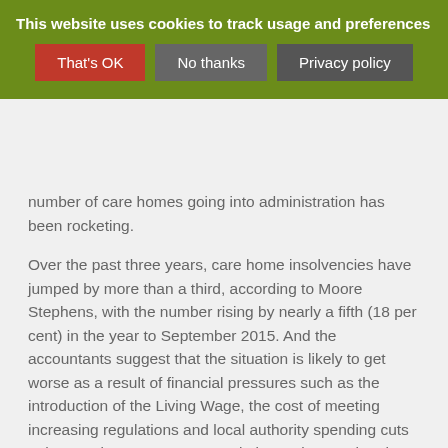This website uses cookies to track usage and preferences
number of care homes going into administration has been rocketing.
Over the past three years, care home insolvencies have jumped by more than a third, according to Moore Stephens, with the number rising by nearly a fifth (18 per cent) in the year to September 2015. And the accountants suggest that the situation is likely to get worse as a result of financial pressures such as the introduction of the Living Wage, the cost of meeting increasing regulations and local authority spending cuts – the Local Government Association estimates that there will be a £2.9 billion annual funding gap in social care by the end of the decade.